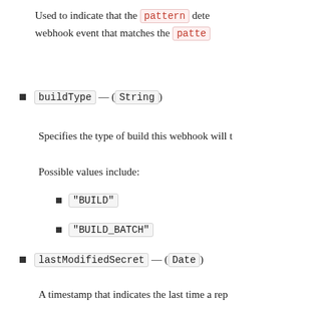Used to indicate that the pattern dete webhook event that matches the patte
buildType — (String)
Specifies the type of build this webhook will t
Possible values include:
"BUILD"
"BUILD_BATCH"
lastModifiedSecret — (Date)
A timestamp that indicates the last time a rep
vpcConfig — (map)
Information about the VPC configuration that Cod
vpcId — (String)
The ID of the Amazon VPC.